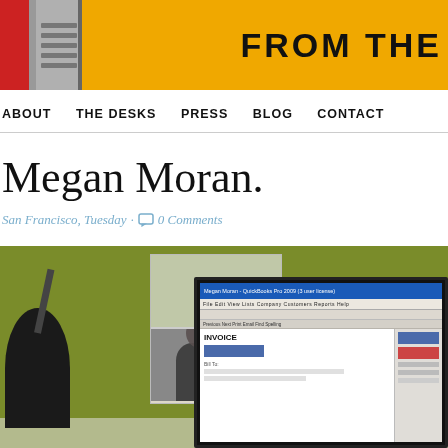[Figure (photo): Website header banner showing a yellow pencil with red eraser on the left and the text 'FROM THE' in bold black letters on the right]
ABOUT   THE DESKS   PRESS   BLOG   CONTACT
Megan Moran.
San Francisco, Tuesday · 0 Comments
[Figure (photo): Photo of a desk with a green wall background, cork board with animal photos pinned, a black desk lamp, and a computer monitor showing QuickBooks invoice software]